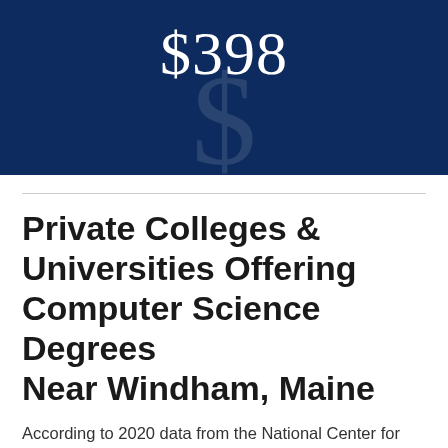[Figure (infographic): Dark navy blue banner with '$398' displayed in large white serif text, with a large faint dollar sign symbol in the background]
Private Colleges & Universities Offering Computer Science Degrees Near Windham, Maine
According to 2020 data from the National Center for Education Statistics (NCES), there was 1 four-year private school near Windham, Maine where students